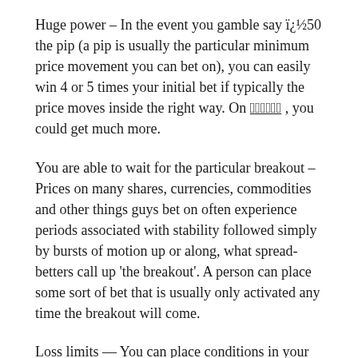Huge power – In the event you gamble say ï¿½50 the pip (a pip is usually the particular minimum price movement you can bet on), you can easily win 4 or 5 times your initial bet if typically the price moves inside the right way. On 񂰘񂰘񂰘񂰘 , you could get much more.
You are able to wait for the particular breakout – Prices on many shares, currencies, commodities and other things guys bet on often experience periods associated with stability followed simply by bursts of motion up or along, what spread-betters call up 'the breakout'. A person can place some sort of bet that is usually only activated any time the breakout will come.
Loss limits — You can place conditions in your current bet that stop your losses far above your chosen stage should your bet happen to be